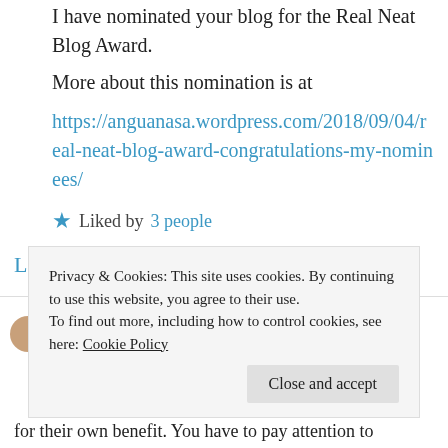I have nominated your blog for the Real Neat Blog Award.
More about this nomination is at https://anguanasa.wordpress.com/2018/09/04/real-neat-blog-award-congratulations-my-nominees/
★ Liked by 3 people
Log in to Reply
Privacy & Cookies: This site uses cookies. By continuing to use this website, you agree to their use. To find out more, including how to control cookies, see here: Cookie Policy
for their own benefit. You have to pay attention to